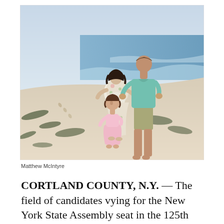[Figure (photo): A family of three standing on a beach. A man in a teal/mint shirt and khaki shorts kisses a pregnant woman in a floral dress. A young girl in a pink dress stands between them looking up. The beach has sand, seaweed, and ocean waves in the background.]
Matthew McIntyre
CORTLAND COUNTY, N.Y. — The field of candidates vying for the New York State Assembly seat in the 125th district grew again today after Cortland County Libertarian Party